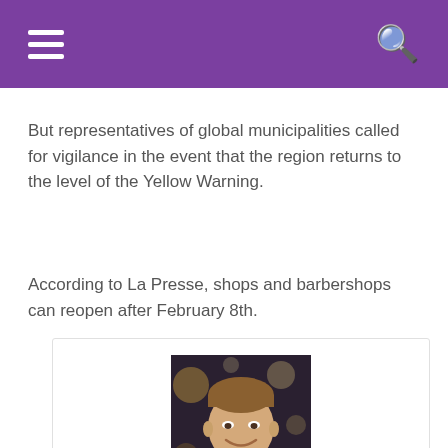But representatives of global municipalities called for vigilance in the event that the region returns to the level of the Yellow Warning.
According to La Presse, shops and barbershops can reopen after February 8th.
[Figure (photo): Headshot photo of Alan Binder, a man smiling, photographed at night with bokeh lights in background]
Alan Binder
"Alcohol scholar. Twitter lover. Zombieaholic. Hipster-friendly coffee fanatic."